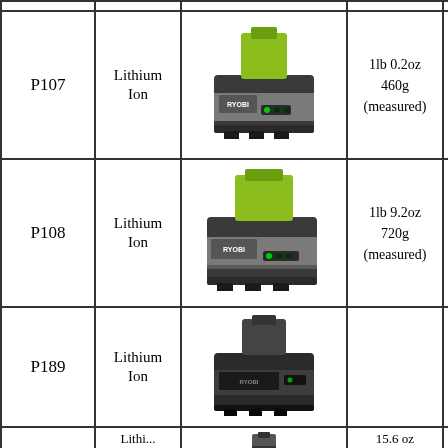| Model | Type | Image | Weight | Capacity |
| --- | --- | --- | --- | --- |
| P107 | Lithium Ion | [image] | 1lb 0.2oz
460g
(measured) | 1500mA
28Wh |
| P108 | Lithium Ion | [image] | 1lb 9.2oz
720g
(measured) | 4000mA
72Wh |
| P189 | Lithium Ion | [image] |  | 1500mA
27Wh |
|  | Lithium... | [image] | 15.6 oz | ... |